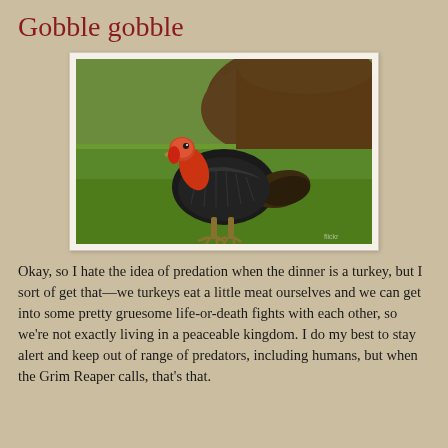Gobble gobble
[Figure (photo): A wild turkey standing on green grass with a pile of dark mulch/dirt in the background. The turkey has dark feathers and a red head/neck.]
Okay, so I hate the idea of predation when the dinner is a turkey, but I sort of get that—we turkeys eat a little meat ourselves and we can get into some pretty gruesome life-or-death fights with each other, so we're not exactly living in a peaceable kingdom. I do my best to stay alert and keep out of range of predators, including humans, but when the Grim Reaper calls, that's that.